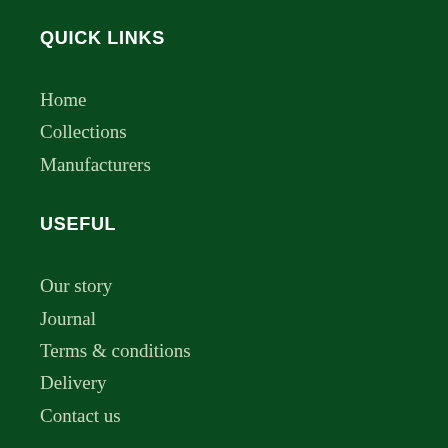QUICK LINKS
Home
Collections
Manufacturers
USEFUL
Our story
Journal
Terms & conditions
Delivery
Contact us
FOLLOW US